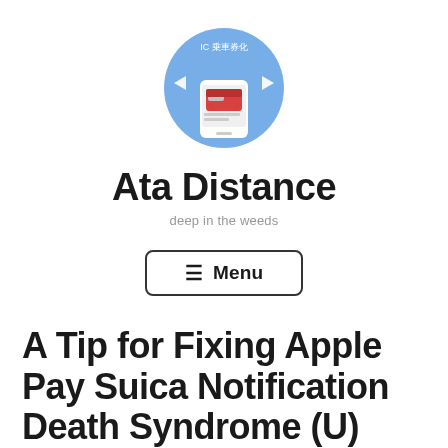[Figure (logo): Circular app/blog logo with blue background showing IC card and smartphone graphic with Japanese text 'IC 乗車券化']
Ata Distance
deep in the weeds
☰ Menu
A Tip for Fixing Apple Pay Suica Notification Death Syndrome (U)